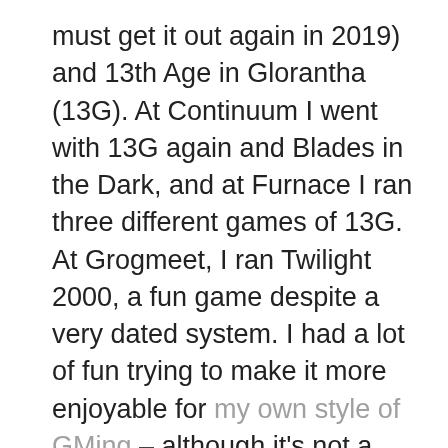must get it out again in 2019) and 13th Age in Glorantha (13G). At Continuum I went with 13G again and Blades in the Dark, and at Furnace I ran three different games of 13G. At Grogmeet, I ran Twilight 2000, a fun game despite a very dated system. I had a lot of fun trying to make it more enjoyable for my own style of GMing – although it's not a system I think I'll be returning to any time in the future.

One thing I did at Furnace I'm going to do more of – to make sure when I'm running multiple games at a con (I usually do) they are the same system, even if not the same scenario. Carrying around just one set of rules in my head made the weekend much less stressful than even if I'd run two games with different systems. I've also taken Simon Burley's advice and re-run some con scenarios; I think Beard of Lhankhor